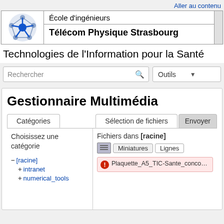Aller au contenu
[Figure (logo): Télécom Physique Strasbourg network/nodes logo in blue]
École d'ingénieurs
Télécom Physique Strasbourg
Technologies de l'Information pour la Santé
Rechercher
Outils
Gestionnaire Multimédia
Catégories
Sélection de fichiers
Envoyer
Choisissez une catégorie
Fichiers dans [racine]
Miniatures
Lignes
− [racine]
+ intranet
+ numerical_tools
Plaquette_A5_TIC-Sante_concours: valid file name for DokuWiki - skippe